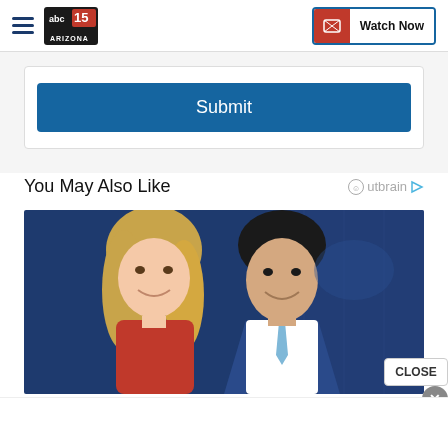ABC15 Arizona — Watch Now
Submit
You May Also Like
[Figure (photo): Two news anchors — a blonde woman in a red top and a dark-haired man in a blue suit with light blue tie — posed in front of a dark blue studio background]
CLOSE
×